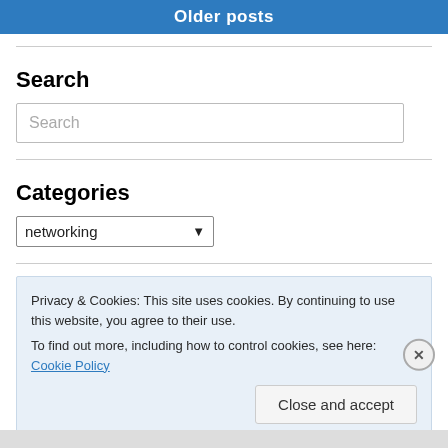Older posts
Search
Search
Categories
networking
Privacy & Cookies: This site uses cookies. By continuing to use this website, you agree to their use.
To find out more, including how to control cookies, see here: Cookie Policy
Close and accept